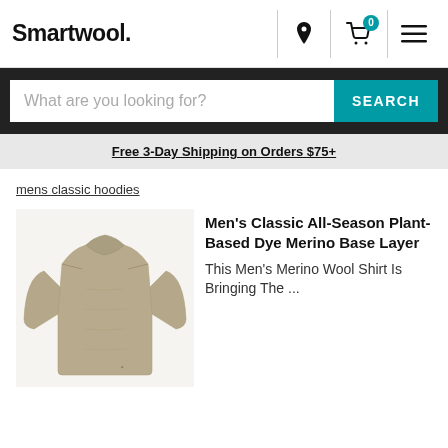Smartwool.
What are you looking for?  SEARCH
Free 3-Day Shipping on Orders $75+
mens classic hoodies
[Figure (photo): Men's long-sleeve merino base layer shirt in tan/khaki color, displayed flat on white background]
Men's Classic All-Season Plant-Based Dye Merino Base Layer
This Men's Merino Wool Shirt Is Bringing The ...